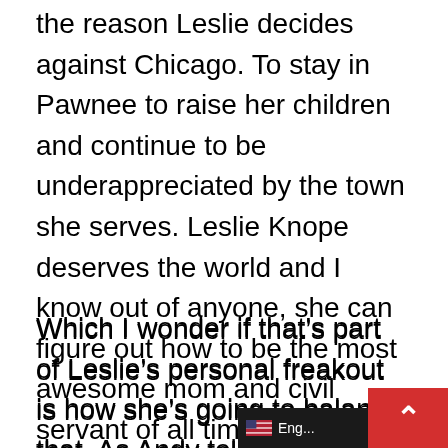the reason Leslie decides against Chicago. To stay in Pawnee to raise her children and continue to be underappreciated by the town she serves. Leslie Knope deserves the world and I know out of anyone, she can figure out how to be the most awesome mom and civil servant of all time. She can have her cake and her baby too!
Which I wonder if that's part of Leslie's personal freakout is how she's going to balance that. As Andy tells her though, as her family grows, her and Ben can handle anything. Of course, he tells her that thinking she's getting a dog instead of a baby. Oh sweet Andy, you loveable beautiful...